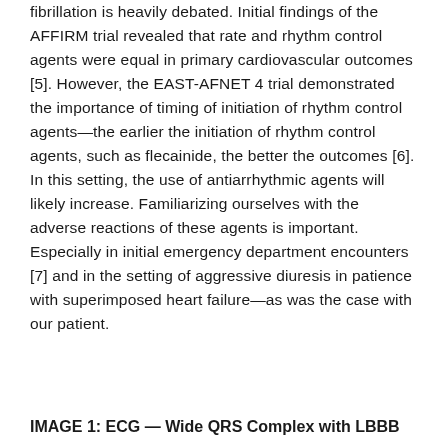fibrillation is heavily debated. Initial findings of the AFFIRM trial revealed that rate and rhythm control agents were equal in primary cardiovascular outcomes [5]. However, the EAST-AFNET 4 trial demonstrated the importance of timing of initiation of rhythm control agents—the earlier the initiation of rhythm control agents, such as flecainide, the better the outcomes [6]. In this setting, the use of antiarrhythmic agents will likely increase. Familiarizing ourselves with the adverse reactions of these agents is important. Especially in initial emergency department encounters [7] and in the setting of aggressive diuresis in patience with superimposed heart failure—as was the case with our patient.
IMAGE 1: ECG — Wide QRS Complex with LBBB